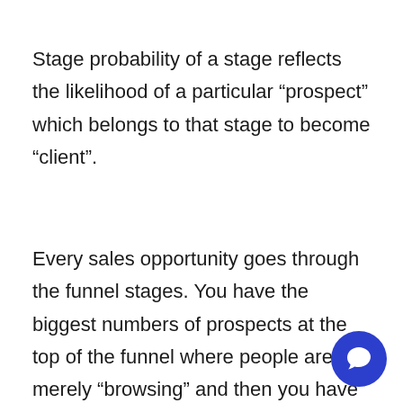Stage probability of a stage reflects the likelihood of a particular “prospect” which belongs to that stage to become “client”.
Every sales opportunity goes through the funnel stages. You have the biggest numbers of prospects at the top of the funnel where people are merely “browsing” and then you have the lowest numbers of prospects at the bottom of the funnel, where th actually become clients. Since every sales